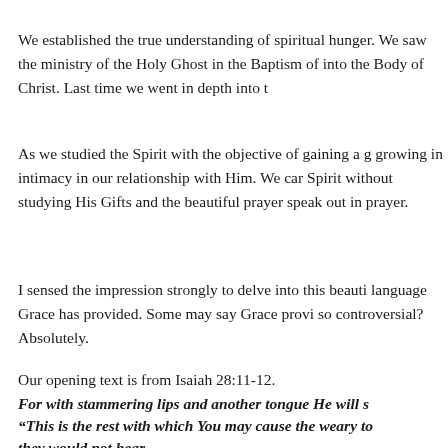We established the true understanding of spiritual hunger. We saw the ministry of the Holy Ghost in the Baptism of into the Body of Christ. Last time we went in depth into t
As we studied the Spirit with the objective of gaining a g growing in intimacy in our relationship with Him. We can Spirit without studying His Gifts and the beautiful prayer speak out in prayer.
I sensed the impression strongly to delve into this beauti language Grace has provided. Some may say Grace provi so controversial? Absolutely.
Our opening text is from Isaiah 28:11-12.
For with stammering lips and another tongue He will s
“This is the rest with which You may cause the weary to
they would not hear.